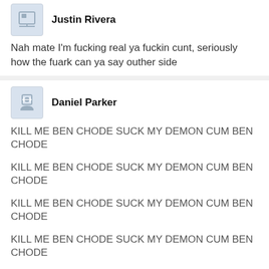Justin Rivera
Nah mate I'm fucking real ya fuckin cunt, seriously how the fuark can ya say outher side
Daniel Parker
KILL ME BEN CHODE SUCK MY DEMON CUM BEN CHODE
KILL ME BEN CHODE SUCK MY DEMON CUM BEN CHODE
KILL ME BEN CHODE SUCK MY DEMON CUM BEN CHODE
KILL ME BEN CHODE SUCK MY DEMON CUM BEN CHODE
KILL ME BEN CHODE SUCK MY DEMON CUM BEN CHODE
KILL ME BEN CHODE SUCK MY DEMON CUM BEN CHODE
KILL ME BEN CHODE SUCK MY DEMON CUM BEN